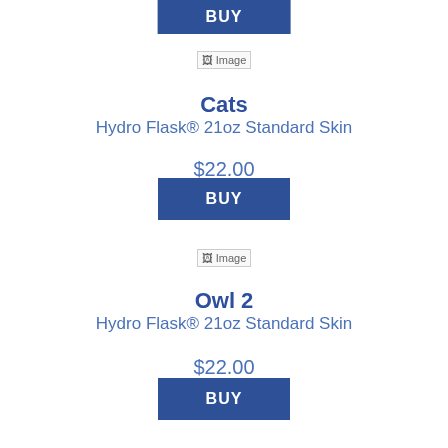[Figure (other): BUY button at top of page (partial, from previous product)]
[Figure (photo): Broken image placeholder labeled 'Image' for Cats product]
Cats
Hydro Flask® 21oz Standard Skin
$22.00
[Figure (other): BUY button for Cats product]
[Figure (photo): Broken image placeholder labeled 'Image' for Owl 2 product]
Owl 2
Hydro Flask® 21oz Standard Skin
$22.00
[Figure (other): BUY button for Owl 2 product]